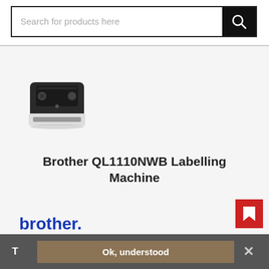Search for products here
[Figure (photo): Brother QL1110NWB label printer, black and silver desktop device viewed from front-top angle]
Brother QL1110NWB Labelling Machine
[Figure (logo): Brother brand logo in blue text]
Product Code: RA79776
Ok, understood